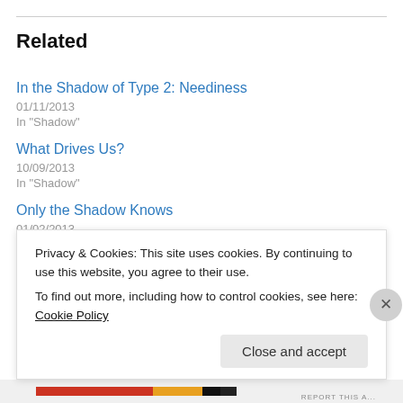Related
In the Shadow of Type 2: Neediness
01/11/2013
In "Shadow"
What Drives Us?
10/09/2013
In "Shadow"
Only the Shadow Knows
01/02/2013
Privacy & Cookies: This site uses cookies. By continuing to use this website, you agree to their use.
To find out more, including how to control cookies, see here: Cookie Policy